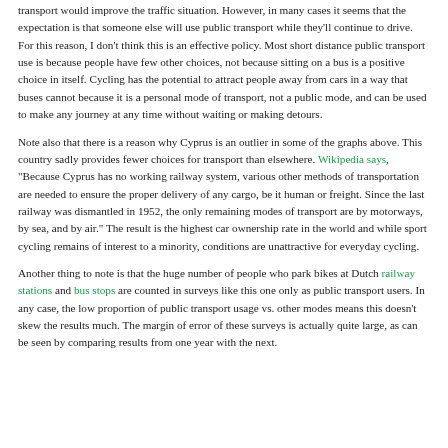transport would improve the traffic situation. However, in many cases it seems that the expectation is that someone else will use public transport while they'll continue to drive. For this reason, I don't think this is an effective policy. Most short distance public transport use is because people have few other choices, not because sitting on a bus is a positive choice in itself. Cycling has the potential to attract people away from cars in a way that buses cannot because it is a personal mode of transport, not a public mode, and can be used to make any journey at any time without waiting or making detours.
Note also that there is a reason why Cyprus is an outlier in some of the graphs above. This country sadly provides fewer choices for transport than elsewhere. Wikipedia says, "Because Cyprus has no working railway system, various other methods of transportation are needed to ensure the proper delivery of any cargo, be it human or freight. Since the last railway was dismantled in 1952, the only remaining modes of transport are by motorways, by sea, and by air." The result is the highest car ownership rate in the world and while sport cycling remains of interest to a minority, conditions are unattractive for everyday cycling.
Another thing to note is that the huge number of people who park bikes at Dutch railway stations and bus stops are counted in surveys like this one only as public transport users. In any case, the low proportion of public transport usage vs. other modes means this doesn't skew the results much. The margin of error of these surveys is actually quite large, as can be seen by comparing results from one year with the next.